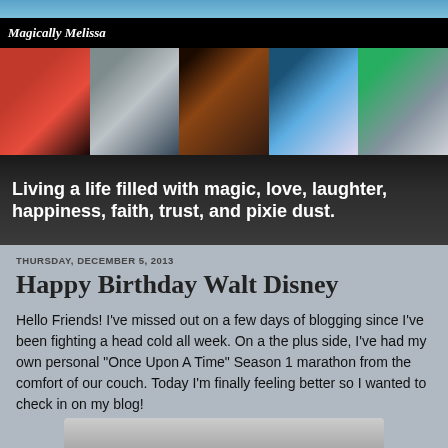Magically Melissa
[Figure (photo): Blog header with five photos: Minnie Mouse with person in red dress, couple with sign at castle, bride in dark hallway, Dumbo ride at Disney, two people outdoors]
Living a life filled with magic, love, laughter, happiness, faith, trust, and pixie dust.
THURSDAY, DECEMBER 5, 2013
Happy Birthday Walt Disney
Hello Friends!  I've missed out on a few days of blogging since I've been fighting a head cold all week.  On a the plus side, I've had my own personal "Once Upon A Time" Season 1 marathon from the comfort of our couch.  Today I'm finally feeling better so I wanted to check in on my blog!
[Figure (photo): Partial view of a photo at the bottom of the page]